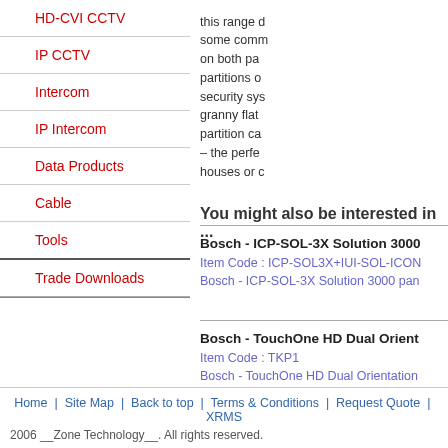HD-CVI CCTV
IP CCTV
Intercom
IP Intercom
Data Products
Cable
Tools
Trade Downloads
this range d... some comm... on both pa... partitions o... security sys... granny flat ... partition ca... – the perfe... houses or c...
You might also be interested in ...
Bosch - ICP-SOL-3X Solution 3000
Item Code : ICP-SOL3X+IUI-SOL-ICON
Bosch - ICP-SOL-3X Solution 3000 pan
Bosch - TouchOne HD Dual Orient
Item Code : TKP1
Bosch - TouchOne HD Dual Orientation
Home | Site Map | Back to top | Terms & Conditions | Request Quote | XRMS
2006 __Zone Technology__. All rights reserved.